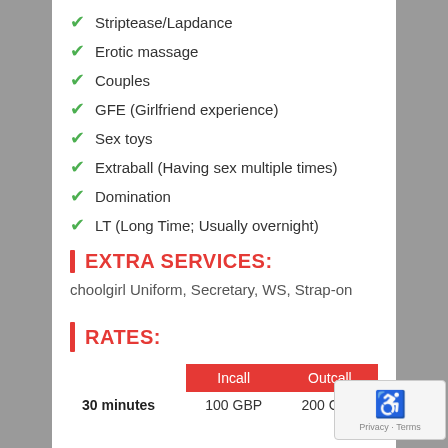Striptease/Lapdance
Erotic massage
Couples
GFE (Girlfriend experience)
Sex toys
Extraball (Having sex multiple times)
Domination
LT (Long Time; Usually overnight)
EXTRA SERVICES:
choolgirl Uniform, Secretary, WS, Strap-on
RATES:
|  | Incall | Outcall |
| --- | --- | --- |
| 30 minutes | 100 GBP | 200 GBP |